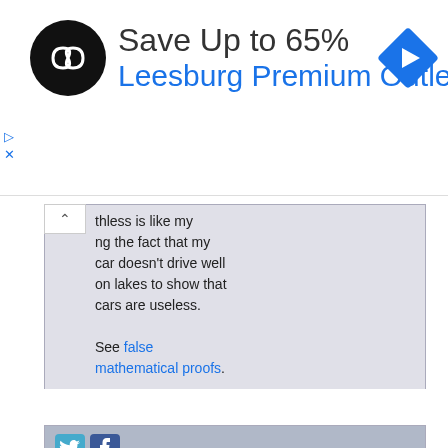[Figure (screenshot): Advertisement banner: Save Up to 65% Leesburg Premium Outlets, with circular black logo and blue diamond arrow icon]
thless is like my ng the fact that my car doesn't drive well on lakes to show that cars are useless.

See false mathematical proofs.
[Figure (infographic): Social sharing icons bar: Twitter, Facebook, Delicious, MySpace, StumbleUpon, Reddit icons with 'I like it!' text]
by Bacon the Rambler (idea) Fri Oct 18 2002 at 7:13:55
the rebuttal that doesn't need a